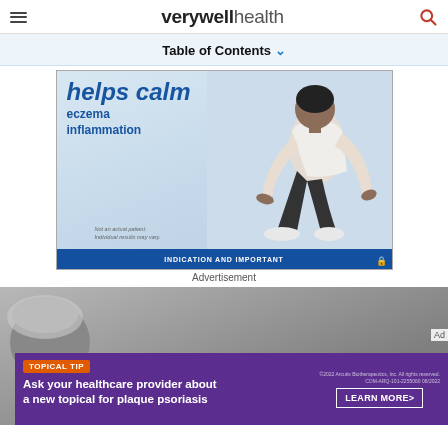verywell health
Table of Contents
[Figure (illustration): Advertisement banner showing text 'helps calm eczema inflammation' with a person sitting on floor, and 'INDICATION AND IMPORTANT' text at bottom. Labeled as Advertisement.]
Advertisement
[Figure (photo): Background photo of a person (side/back of head visible), with a purple advertisement overlay at the bottom reading 'TOPICAL TIP - Ask your healthcare provider about a new topical for plaque psoriasis' with a LEARN MORE button.]